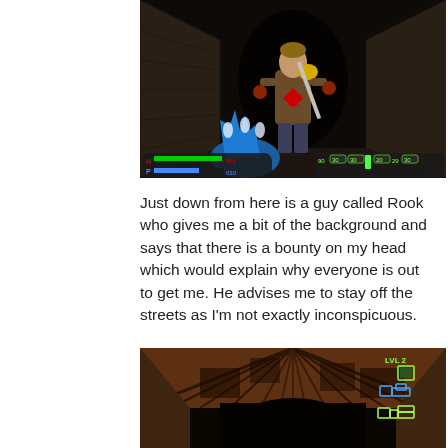[Figure (screenshot): Video game screenshot showing a third-person action game. A muscular male character with a yellow accessory holds a sword in a dark brick corridor. A blue alien creature is visible in the foreground. HUD shows health/power bars on the lower left (851/030) and ammo/status numbers on the lower right (90, 30, 30, 20, 29, 30).]
Just down from here is a guy called Rook who gives me a bit of the background and says that there is a bounty on my head which would explain why everyone is out to get me. He advises me to stay off the streets as I'm not exactly inconspicuous.
[Figure (screenshot): Video game screenshot showing a dark tunnel or corridor with brown/orange stone walls. A minimap is visible in the upper right corner showing room layouts in green/yellow outlines. Text 'LVL 2' appears in the upper right.]